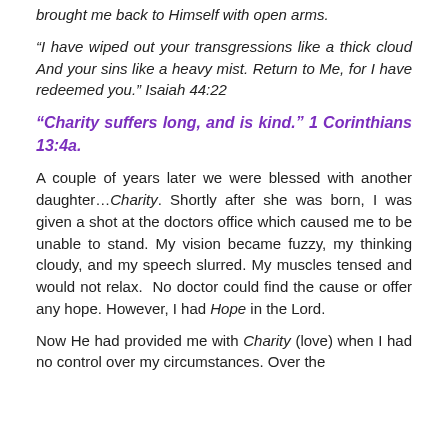brought me back to Himself with open arms.
“I have wiped out your transgressions like a thick cloud And your sins like a heavy mist. Return to Me, for I have redeemed you.” Isaiah 44:22
“Charity suffers long, and is kind.” 1 Corinthians 13:4a.
A couple of years later we were blessed with another daughter…Charity. Shortly after she was born, I was given a shot at the doctors office which caused me to be unable to stand. My vision became fuzzy, my thinking cloudy, and my speech slurred. My muscles tensed and would not relax. No doctor could find the cause or offer any hope. However, I had Hope in the Lord.
Now He had provided me with Charity (love) when I had no control over my circumstances. Over the